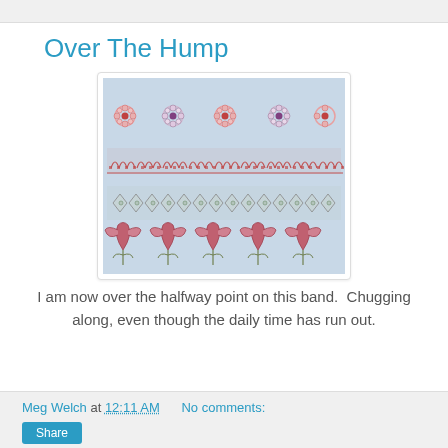Over The Hump
[Figure (photo): Close-up photo of embroidery work on light blue fabric, showing rows of decorative stitched patterns: a row of pink/red flower medallions, a row of red and pink heart-arch designs, a row of small geometric cross/diamond patterns, and a row of larger tulip/floral motifs in pink and red.]
I am now over the halfway point on this band.  Chugging along, even though the daily time has run out.
Meg Welch at 12:11 AM   No comments: